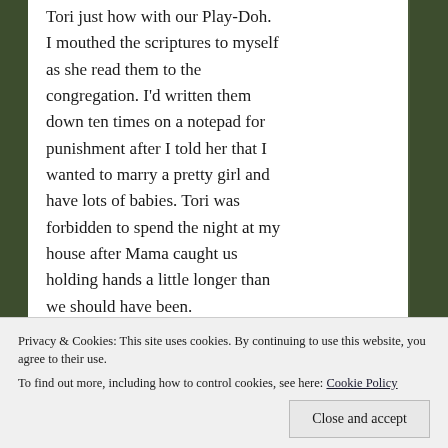Tori just how with our Play-Doh. I mouthed the scriptures to myself as she read them to the congregation. I'd written them down ten times on a notepad for punishment after I told her that I wanted to marry a pretty girl and have lots of babies. Tori was forbidden to spend the night at my house after Mama caught us holding hands a little longer than we should have been.
“Saints, I want you know that it’s
Privacy & Cookies: This site uses cookies. By continuing to use this website, you agree to their use.
To find out more, including how to control cookies, see here: Cookie Policy
it does matter who you love.”